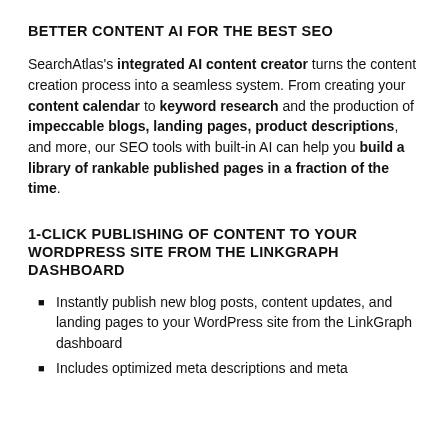BETTER CONTENT AI FOR THE BEST SEO
SearchAtlas's integrated AI content creator turns the content creation process into a seamless system. From creating your content calendar to keyword research and the production of impeccable blogs, landing pages, product descriptions, and more, our SEO tools with built-in AI can help you build a library of rankable published pages in a fraction of the time.
1-CLICK PUBLISHING OF CONTENT TO YOUR WORDPRESS SITE FROM THE LINKGRAPH DASHBOARD
Instantly publish new blog posts, content updates, and landing pages to your WordPress site from the LinkGraph dashboard
Includes optimized meta descriptions and meta…